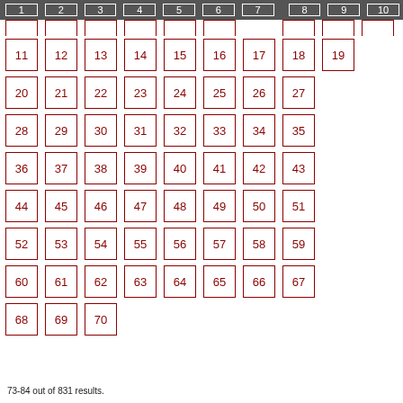[Figure (other): Grid of numbered boxes from 1-10 (partially visible at top, cropped), then 11-70 fully visible, arranged in rows of 8-9 per row. Numbers are displayed in dark red on white boxes with dark red borders. Top row has dark gray background.]
73-84 out of 831 results.